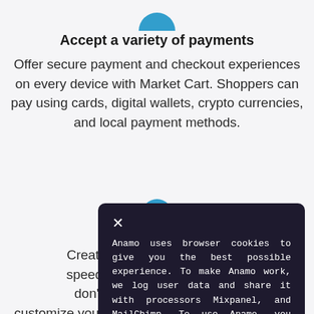[Figure (logo): Partial blue circular icon at top of page]
Accept a variety of payments
Offer secure payment and checkout experiences on every device with Market Cart. Shoppers can pay using cards, digital wallets, crypto currencies, and local payment methods.
[Figure (logo): Partial blue circular icon for second section]
Create an ... g speed. Wi ... u don't nee ... g customize your webstore — our automated tools
Anamo uses browser cookies to give you the best possible experience. To make Anamo work, we log user data and share it with processors Mixpanel, and MailChimp. To use Anamo, you must agree to our Privacy Policy.